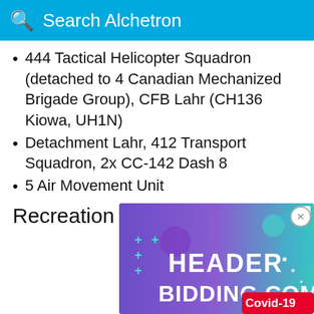Search Alchetron
444 Tactical Helicopter Squadron (detached to 4 Canadian Mechanized Brigade Group), CFB Lahr (CH136 Kiowa, UH1N)
Detachment Lahr, 412 Transport Squadron, 2x CC-142 Dash 8
5 Air Movement Unit
Recreation from 1997
[Figure (screenshot): Advertisement banner for headerbidding.com with colorful purple-to-teal gradient background, showing the text HEADER BIDDING.COM in white, with decorative geometric shapes and a Covid-19 badge in the bottom right corner.]